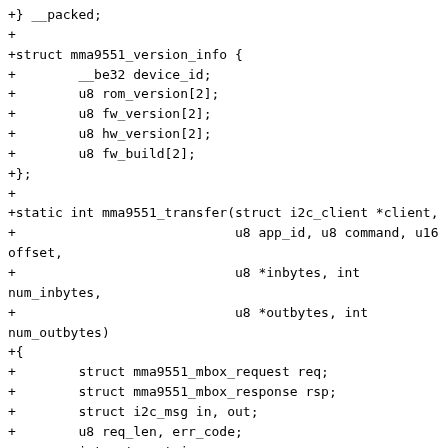+} __packed;
+
+struct mma9551_version_info {
+        __be32 device_id;
+        u8 rom_version[2];
+        u8 fw_version[2];
+        u8 hw_version[2];
+        u8 fw_build[2];
+};
+
+static int mma9551_transfer(struct i2c_client *client,
+                            u8 app_id, u8 command, u16 offset,
+                            u8 *inbytes, int num_inbytes,
+                            u8 *outbytes, int num_outbytes)
+{
+        struct mma9551_mbox_request req;
+        struct mma9551_mbox_response rsp;
+        struct i2c_msg in, out;
+        u8 req_len, err_code;
+        int ret, retries;
+
+        if (offset >= 1 << 12) {
+                dev_err(&client->dev, "register offset too large\n");
+                return -EINVAL;
+        }
+